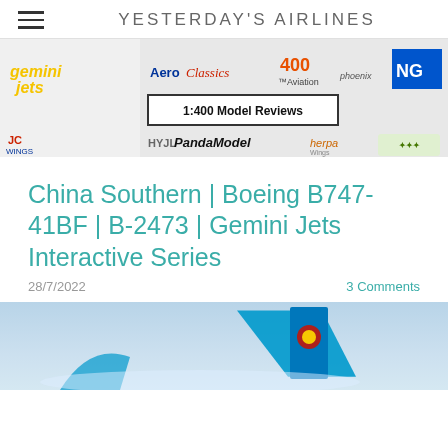YESTERDAY'S AIRLINES
[Figure (illustration): Banner advertising 1:400 Model Reviews featuring logos: Gemini Jets, AeroClassics, 400 Aviation, Phoenix, NG Model, JC Wings, HYJL, PandaModel, herpa wings, and other brands]
China Southern | Boeing B747-41BF | B-2473 | Gemini Jets Interactive Series
28/7/2022
3 Comments
[Figure (photo): Photo of a China Southern Boeing B747 aircraft model showing tail with China Southern livery against light blue sky background]